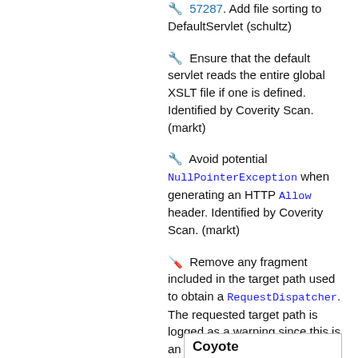🔧 57287. Add file sorting to DefaultServlet (schultz)
🔧 Ensure that the default servlet reads the entire global XSLT file if one is defined. Identified by Coverity Scan. (markt)
🔧 Avoid potential NullPointerException when generating an HTTP Allow header. Identified by Coverity Scan. (markt)
🪛 Remove any fragment included in the target path used to obtain a RequestDispatcher. The requested target path is logged as a warning since this is an application error. (markt)
Coyote